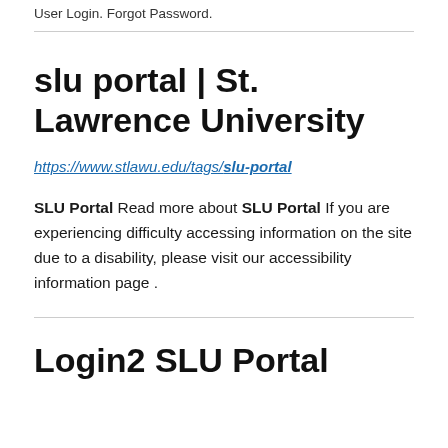User Login. Forgot Password.
slu portal | St. Lawrence University
https://www.stlawu.edu/tags/slu-portal
SLU Portal Read more about SLU Portal If you are experiencing difficulty accessing information on the site due to a disability, please visit our accessibility information page .
Login2 SLU Portal